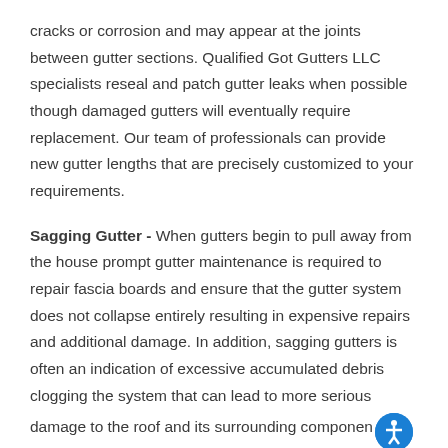cracks or corrosion and may appear at the joints between gutter sections. Qualified Got Gutters LLC specialists reseal and patch gutter leaks when possible though damaged gutters will eventually require replacement. Our team of professionals can provide new gutter lengths that are precisely customized to your requirements.
Sagging Gutter - When gutters begin to pull away from the house prompt gutter maintenance is required to repair fascia boards and ensure that the gutter system does not collapse entirely resulting in expensive repairs and additional damage. In addition, sagging gutters is often an indication of excessive accumulated debris clogging the system that can lead to more serious damage to the roof and its surrounding components. Consult with Got Gutters LLC for to handle minor gutter repairs before they turn into a major roofing problem.